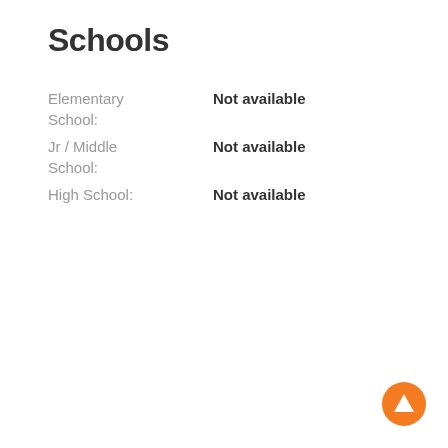Schools
Elementary School: Not available
Jr / Middle School: Not available
High School: Not available